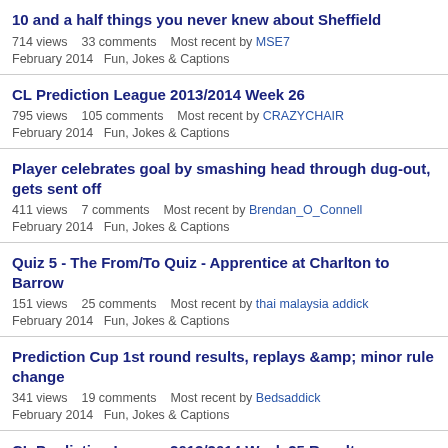10 and a half things you never knew about Sheffield
714 views   33 comments   Most recent by MSE7
February 2014   Fun, Jokes & Captions
CL Prediction League 2013/2014 Week 26
795 views   105 comments   Most recent by CRAZYCHAIR
February 2014   Fun, Jokes & Captions
Player celebrates goal by smashing head through dug-out, gets sent off
411 views   7 comments   Most recent by Brendan_O_Connell
February 2014   Fun, Jokes & Captions
Quiz 5 - The From/To Quiz - Apprentice at Charlton to Barrow
151 views   25 comments   Most recent by thai malaysia addick
February 2014   Fun, Jokes & Captions
Prediction Cup 1st round results, replays &amp; minor rule change
341 views   19 comments   Most recent by Bedsaddick
February 2014   Fun, Jokes & Captions
CL Prediction League 2013/2014 Week 25 Results